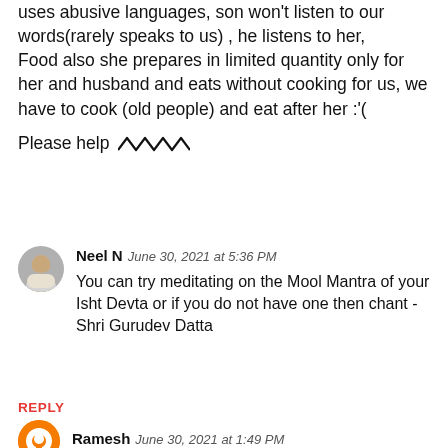uses abusive languages, son won't listen to our words(rarely speaks to us) , he listens to her,
Food also she prepares in limited quantity only for her and husband and eats without cooking for us, we have to cook (old people) and eat after her :'(

Please help /\/\/\
Neel N  June 30, 2021 at 5:36 PM
You can try meditating on the Mool Mantra of your Isht Devta or if you do not have one then chant - Shri Gurudev Datta
REPLY
Ramesh  June 30, 2021 at 1:49 PM